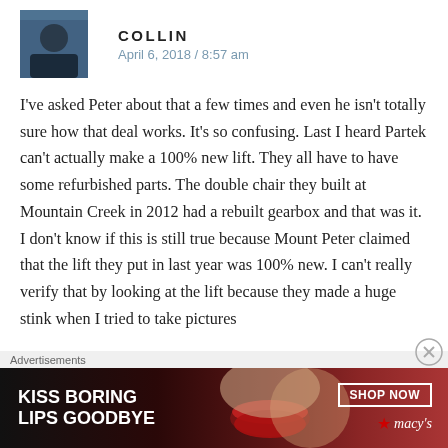[Figure (photo): User avatar photo of Collin showing a dark blue/grey toned image]
COLLIN
April 6, 2018 / 8:57 am
I've asked Peter about that a few times and even he isn't totally sure how that deal works. It's so confusing. Last I heard Partek can't actually make a 100% new lift. They all have to have some refurbished parts. The double chair they built at Mountain Creek in 2012 had a rebuilt gearbox and that was it. I don't know if this is still true because Mount Peter claimed that the lift they put in last year was 100% new. I can't really verify that by looking at the lift because they made a huge stink when I tried to take pictures
Advertisements
[Figure (photo): Macy's advertisement banner: KISS BORING LIPS GOODBYE with a close-up of red lips and lipstick, SHOP NOW button, Macy's star logo]